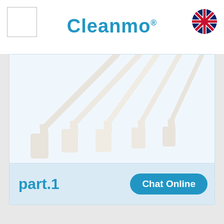[Figure (logo): Cleanmo brand logo with registered trademark symbol, centered in header]
[Figure (photo): Five white foam-tipped cleaning swabs with long handles, fanned out on a white background]
part.1
Chat Online